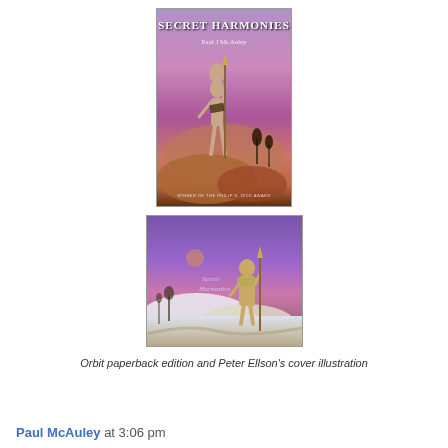[Figure (photo): Book cover of 'Secret Harmonies' by Paul J McAuley — purple and orange alien landscape with a tall thin alien figure holding a spear, text at bottom reads 'Winner of the Philip K. Dick Award']
[Figure (illustration): Peter Ellson's cover illustration — painted scene of an alien/robot figure standing in a purple-pink twilight landscape with white hills and sparse vegetation]
Orbit paperback edition and Peter Ellson's cover illustration
Paul McAuley at 3:06 pm